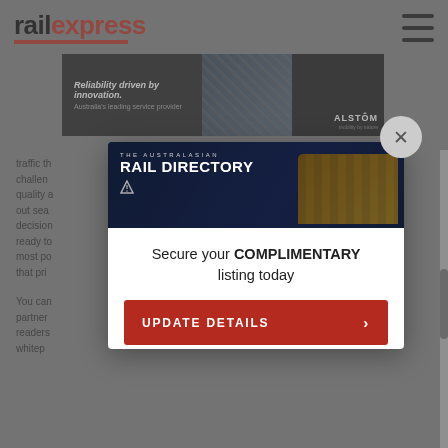rail express
[Figure (illustration): Alstom banner advertisement: 'Reliability driven by innovation. Australia's leading service provider' with ALSTOM logo and train imagery]
traffic th... challenge... quality a... out sea... decision... ready to... most po... that pri...
[Figure (screenshot): Modal popup overlay showing The Australasian Rail Directory promotional banner with a yellow train]
Secure your COMPLIMENTARY listing today
UPDATE DETAILS
You can... partner... readers... whitepap...